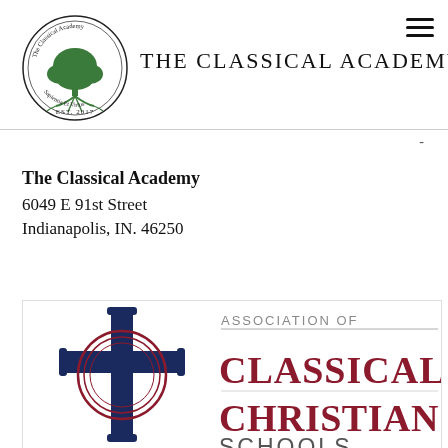[Figure (logo): The Classical Academy circular logo with a tree and roots, 'EST. 2017' text, and Latin motto]
The Classical Academy
The Classical Academy
6049 E 91st Street
Indianapolis, IN. 46250
[Figure (logo): Association of Classical Christian Schools logo with a cross and concentric circles in dark navy and crimson]